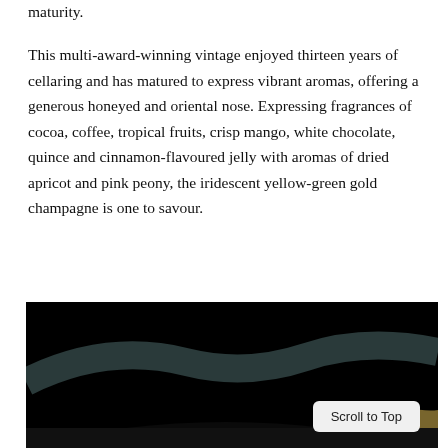maturity.
This multi-award-winning vintage enjoyed thirteen years of cellaring and has matured to express vibrant aromas, offering a generous honeyed and oriental nose. Expressing fragrances of cocoa, coffee, tropical fruits, crisp mango, white chocolate, quince and cinnamon-flavoured jelly with aromas of dried apricot and pink peony, the iridescent yellow-green gold champagne is one to savour.
[Figure (photo): Dark/black background image showing what appears to be the neck or base of a champagne bottle with a golden label or foil element visible in the lower right area. A 'Scroll to Top' button is overlaid in the lower right corner.]